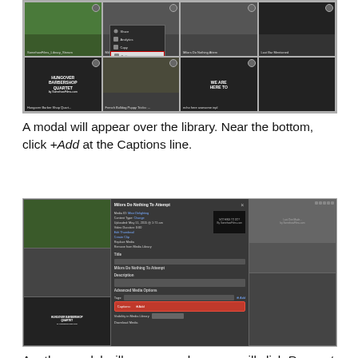[Figure (screenshot): Screenshot of a video library interface showing a grid of video thumbnails with a context menu open, highlighting a 'Settings' option with a red border.]
A modal will appear over the library. Near the bottom, click +Add at the Captions line.
[Figure (screenshot): Screenshot of a video settings modal dialog with fields for title, content type, upload date, thumbnail, tags, description, and Advanced Media Options section showing Captions row with '+Add' button highlighted in red, and Visibility in Media Library dropdown.]
Another modal will open up, where you will click Request Captions.